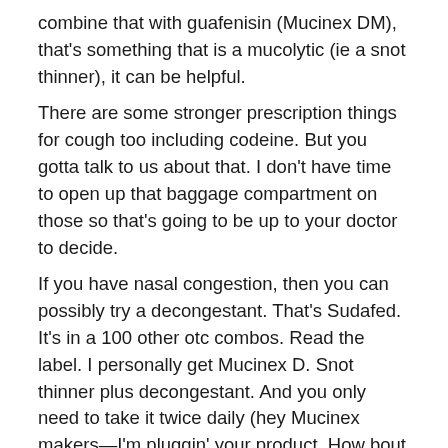combine that with guafenisin (Mucinex DM), that's something that is a mucolytic (ie a snot thinner), it can be helpful.
There are some stronger prescription things for cough too including codeine. But you gotta talk to us about that. I don't have time to open up that baggage compartment on those so that's going to be up to your doctor to decide.
If you have nasal congestion, then you can possibly try a decongestant. That's Sudafed. It's in a 100 other otc combos. Read the label. I personally get Mucinex D. Snot thinner plus decongestant. And you only need to take it twice daily (hey Mucinex makers—I'm pluggin' your product. How bout at last some free samples).
Here's the catch with decongestants. They often aren't tolerated by everyone . They can make your heart rate faster, maybe even make you anxious